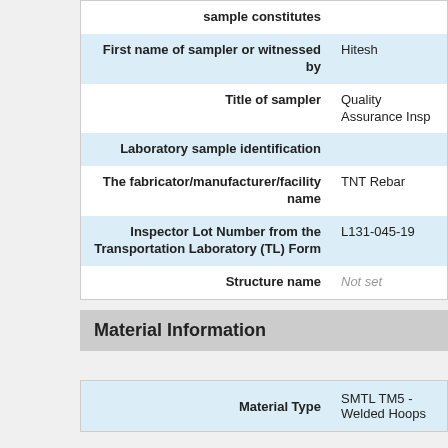| Field | Value |
| --- | --- |
| sample constitutes |  |
| First name of sampler or witnessed by | Hitesh |
| Title of sampler | Quality Assurance Insp |
| Laboratory sample identification |  |
| The fabricator/manufacturer/facility name | TNT Rebar |
| Inspector Lot Number from the Transportation Laboratory (TL) Form | L131-045-19 |
| Structure name | Not set |
Material Information
| Field | Value |
| --- | --- |
| Material Type | SMTL TM5 - Welded Hoops |